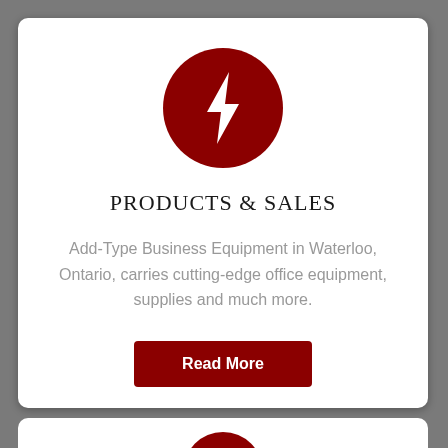[Figure (logo): Dark red circle with white lightning bolt icon]
PRODUCTS & SALES
Add-Type Business Equipment in Waterloo, Ontario, carries cutting-edge office equipment, supplies and much more.
Read More
[Figure (logo): Partially visible dark red circle with white lightning bolt icon at bottom of page]